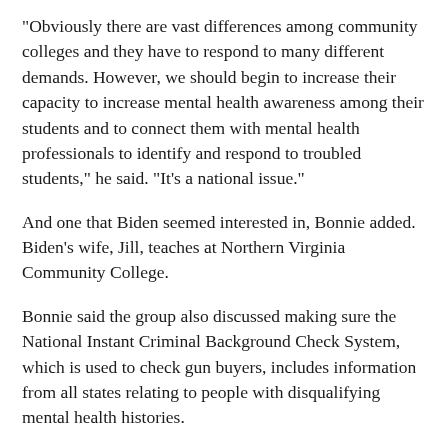"Obviously there are vast differences among community colleges and they have to respond to many different demands. However, we should begin to increase their capacity to increase mental health awareness among their students and to connect them with mental health professionals to identify and respond to troubled students," he said. "It's a national issue."
And one that Biden seemed interested in, Bonnie added. Biden's wife, Jill, teaches at Northern Virginia Community College.
Bonnie said the group also discussed making sure the National Instant Criminal Background Check System, which is used to check gun buyers, includes information from all states relating to people with disqualifying mental health histories.
"The president's plan does not recommend enlarging the class of people who are subject to disqualification, but they want get the states to report the people who are disqualified under current laws," he said. Virginia is a leader in reporting, he said. "We have a very good data system here and it could be the model for other